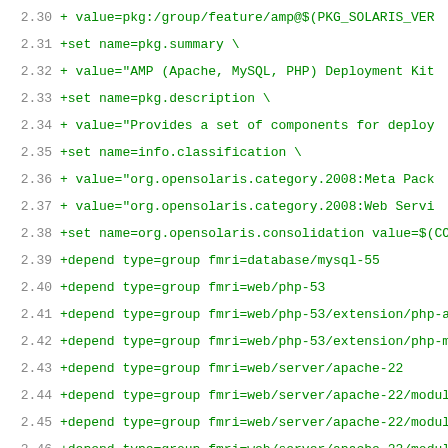Diff/patch code lines 2.30-3.15 showing package configuration and CDDL license header in a group-feature file